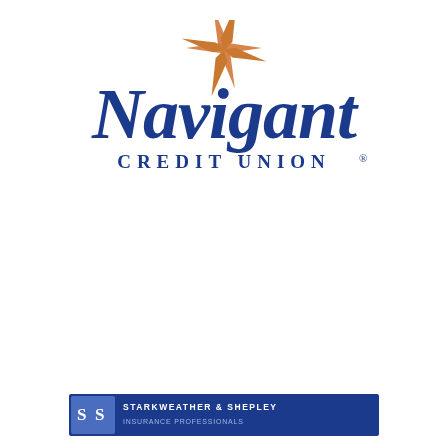[Figure (logo): Navigant Credit Union logo: dark blue text 'Navigant' in large serif font with 'CREDIT UNION' in spaced caps below, and an orange four-pointed star/compass symbol above the 'N'.]
[Figure (logo): Starkweather & Shepley logo: blue rectangle with 'S S' letters on the left and 'STARKWEATHER & SHEPLEY' text in white on the right.]